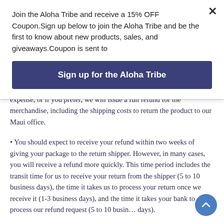Join the Aloha Tribe and receive a 15% OFF Coupon.Sign up below to join the Aloha Tribe and be the first to know about new products, sales, and giveaways.Coupon is sent to
Sign up for the Aloha Tribe
expense, or if you prefer, we will issue a full refund for the merchandise, including the shipping costs to return the product to our Maui office.
• You should expect to receive your refund within two weeks of giving your package to the return shipper. However, in many cases, you will receive a refund more quickly. This time period includes the transit time for us to receive your return from the shipper (5 to 10 business days), the time it takes us to process your return once we receive it (1-3 business days), and the time it takes your bank to process our refund request (5 to 10 business days).